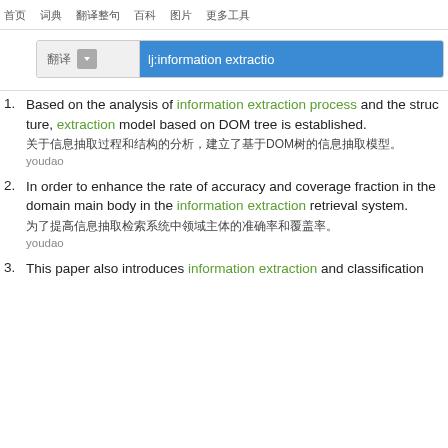首页  词典  翻译整句  百科  图片  更多工具
[Figure (screenshot): Search bar with dropdown selector showing Chinese text and blue highlighted search input field with 'lj:information extraction']
1. Based on the analysis of information extraction process and the structure, extraction model based on DOM tree is established.
关于信息抽取过程和结构的分析，建立了基于DOM树的信息抽取模型。
youdao
2. In order to enhance the rate of accuracy and coverage fraction in the domain main body in the information extraction retrieval system.
为了提高信息抽取检索系统中领域主体的准确率和覆盖率。
youdao
3. This paper also introduces information extraction and classification...